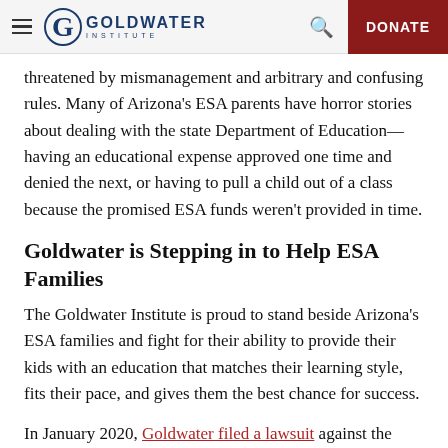Goldwater Institute — DONATE
threatened by mismanagement and arbitrary and confusing rules. Many of Arizona's ESA parents have horror stories about dealing with the state Department of Education—having an educational expense approved one time and denied the next, or having to pull a child out of a class because the promised ESA funds weren't provided in time.
Goldwater is Stepping in to Help ESA Families
The Goldwater Institute is proud to stand beside Arizona's ESA families and fight for their ability to provide their kids with an education that matches their learning style, fits their pace, and gives them the best chance for success.
In January 2020, Goldwater filed a lawsuit against the